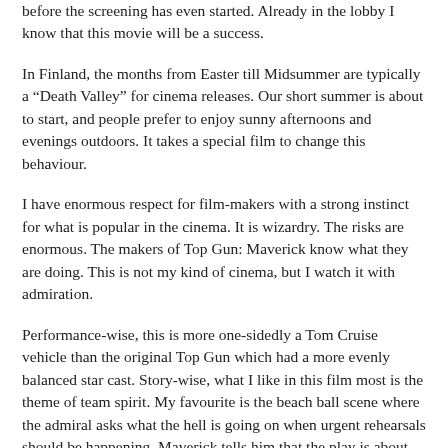before the screening has even started. Already in the lobby I know that this movie will be a success.
In Finland, the months from Easter till Midsummer are typically a "Death Valley" for cinema releases. Our short summer is about to start, and people prefer to enjoy sunny afternoons and evenings outdoors. It takes a special film to change this behaviour.
I have enormous respect for film-makers with a strong instinct for what is popular in the cinema. It is wizardry. The risks are enormous. The makers of Top Gun: Maverick know what they are doing. This is not my kind of cinema, but I watch it with admiration.
Performance-wise, this is more one-sidedly a Tom Cruise vehicle than the original Top Gun which had a more evenly balanced star cast. Story-wise, what I like in this film most is the theme of team spirit. My favourite is the beach ball scene where the admiral asks what the hell is going on when urgent rehearsals should be happening. Maverick tells him that the play is about building the team and its dynamics.